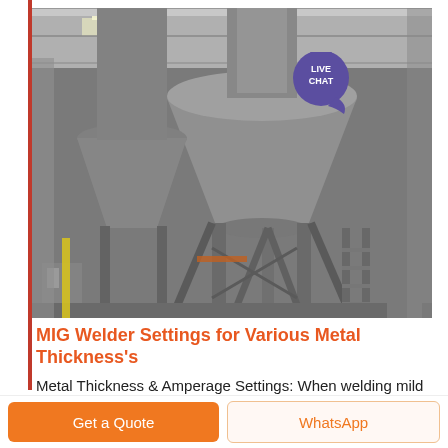[Figure (photo): Industrial factory interior showing large metal conical hopper/silo structures with supporting steel framework inside a warehouse building. Monochrome/grey tones. A 'LIVE CHAT' badge with purple speech bubble is overlaid in the top-right corner of the image.]
MIG Welder Settings for Various Metal Thickness's
Metal Thickness & Amperage Settings: When welding mild